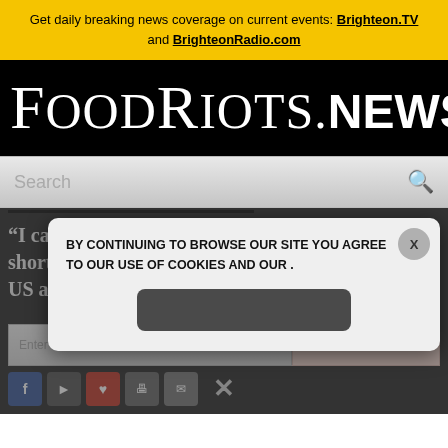Get daily breaking news coverage on current events: Brighteon.TV and BrighteonRadio.com
FoodRiots.news
[Figure (screenshot): Search bar with magnifying glass icon on a gray gradient background]
"I can't... shortage... US as..."
Enter Your Email Address...
[Figure (screenshot): Cookie consent modal popup: BY CONTINUING TO BROWSE OUR SITE YOU AGREE TO OUR USE OF COOKIES AND OUR [privacy policy]. Dark agree button. X close button.]